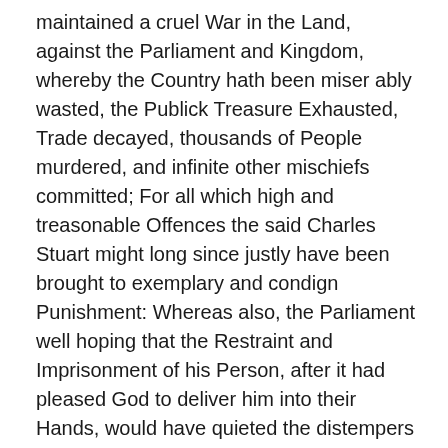maintained a cruel War in the Land, against the Parliament and Kingdom, whereby the Country hath been miser ably wasted, the Publick Treasure Exhausted, Trade decayed, thousands of People murdered, and infinite other mischiefs committed; For all which high and treasonable Offences the said Charles Stuart might long since justly have been brought to exemplary and condign Punishment: Whereas also, the Parliament well hoping that the Restraint and Imprisonment of his Person, after it had pleased God to deliver him into their Hands, would have quieted the distempers of the Kingdom, did forbear to proceed Judicially against him; but found by sad Experience, that such their Remissness served only to encourage him and his Complices in the continuance of their evil practices, and in raising of new Commotions Rebellions and Invasions; for prevention therefore of the like or greater Inconveniences, and to the end no Chief